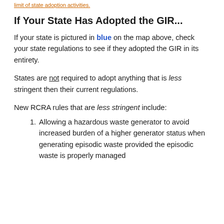limit of state adoption activities.
If Your State Has Adopted the GIR...
If your state is pictured in blue on the map above, check your state regulations to see if they adopted the GIR in its entirety.
States are not required to adopt anything that is less stringent then their current regulations.
New RCRA rules that are less stringent include:
Allowing a hazardous waste generator to avoid increased burden of a higher generator status when generating episodic waste provided the episodic waste is properly managed